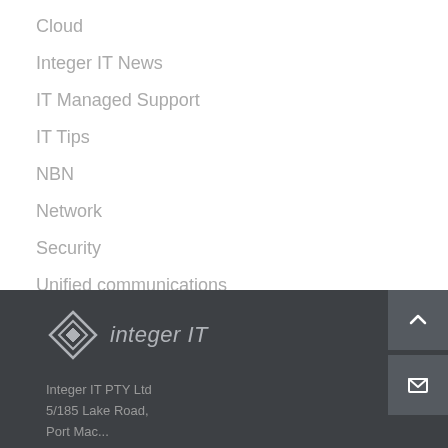Cloud
Integer IT News
IT Managed Support
IT Tips
NBN
Network
Security
Unified communications
Integer IT PTY Ltd
5/185 Lake Road,
Port Macquarie